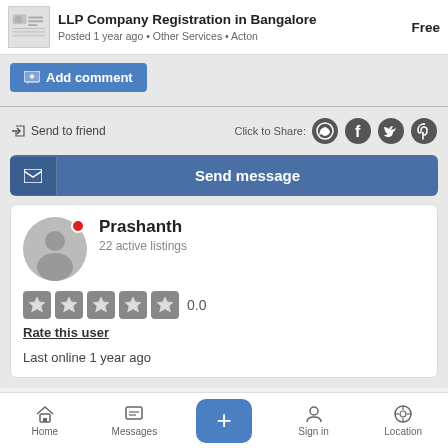LLP Company Registration in Bangalore  Free
Posted 1 year ago • Other Services • Acton
+ Add comment
Send to friend    Click to Share:
Send message
Prashanth
22 active listings
0.0
Rate this user
Last online 1 year ago
Home  Messages  +  Sign in  Location